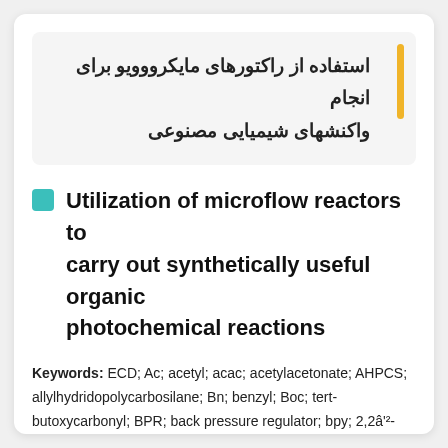استفاده از راکتورهای مایکرووویو برای انجام واکنشهای شیمیایی مصنوعی
Utilization of microflow reactors to carry out synthetically useful organic photochemical reactions
Keywords: ECD; Ac; acetyl; acac; acetylacetonate; AHPCS; allylhydridopolycarbosilane; Bn; benzyl; Boc; tert-butoxycarbonyl; BPR; back pressure regulator; bpy; 2,2â²-bipyridine; Bu; butyl; CFL; compact fluorescent lamp; DCB; 1,4-dicyanobenzene; de; diastereomeric excess